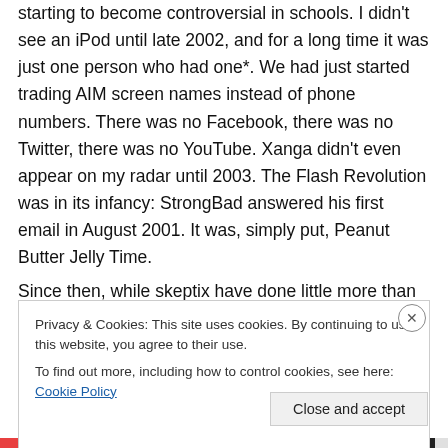starting to become controversial in schools. I didn't see an iPod until late 2002, and for a long time it was just one person who had one*. We had just started trading AIM screen names instead of phone numbers. There was no Facebook, there was no Twitter, there was no YouTube. Xanga didn't even appear on my radar until 2003. The Flash Revolution was in its infancy: StrongBad answered his first email in August 2001. It was, simply put, Peanut Butter Jelly Time.
Since then, while skeptix have done little more than whine, climatologists have been hard at work, improving climate
Privacy & Cookies: This site uses cookies. By continuing to use this website, you agree to their use.
To find out more, including how to control cookies, see here: Cookie Policy